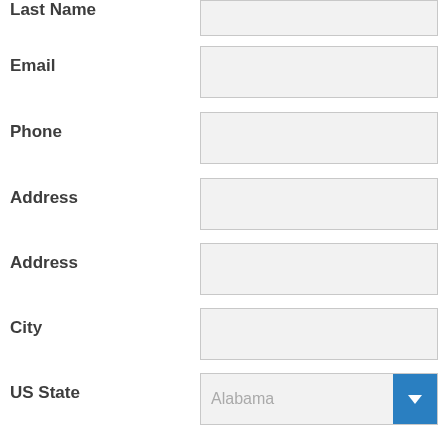Last Name
Email
Phone
Address
Address
City
US State